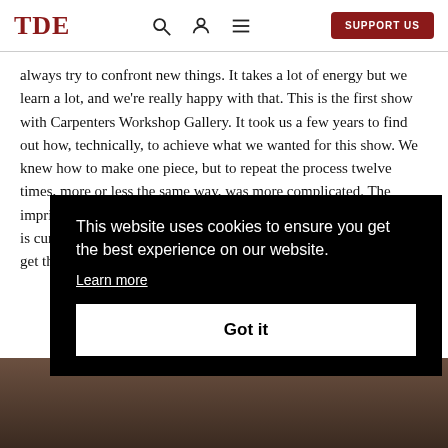TDE | Support Us
always try to confront new things. It takes a lot of energy but we learn a lot, and we're really happy with that. This is the first show with Carpenters Workshop Gallery. It took us a few years to find out how, technically, to achieve what we wanted for this show. We knew how to make one piece, but to repeat the process twelve times, more or less the same way, was more complicated. The imprint of textile gives both a positive and negative, and the surface is curved, so to get the imprint on the convex side is difficult but to get the imprint on both sides is really [obscured by cookie banner] when [obscured by cookie banner]
This website uses cookies to ensure you get the best experience on our website. Learn more
Got it
[Figure (photo): Partial view of a dark textured surface, likely a sculptural object, visible at the bottom of the page behind the cookie consent overlay.]